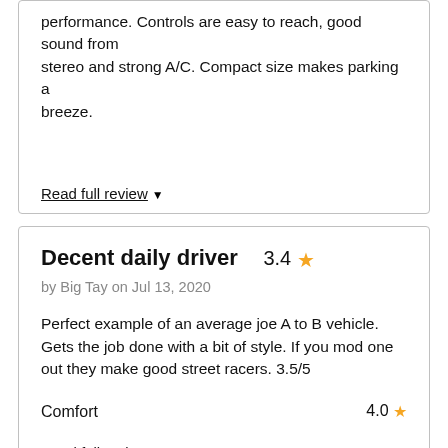performance. Controls are easy to reach, good sound from stereo and strong A/C. Compact size makes parking a breeze.
Read full review ▼
Decent daily driver  3.4 ★
by Big Tay on Jul 13, 2020
Perfect example of an average joe A to B vehicle. Gets the job done with a bit of style. If you mod one out they make good street racers. 3.5/5
Comfort   4.0 ★
Read full review ▼